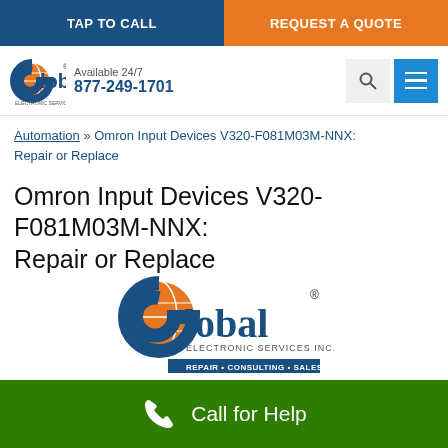TAP TO CALL | REQUEST A QUOTE
[Figure (logo): Global Electronic Services Inc. logo with globe icon, Available 24/7, phone 877-249-1701, search and menu icons]
Automation » Omron Input Devices V320-F081M03M-NNX: Repair or Replace
Omron Input Devices V320-F081M03M-NNX: Repair or Replace
[Figure (logo): Global Electronic Services Inc. large center logo with globe graphic, text: REPAIR • CONSULTING • SALES]
Call for Help